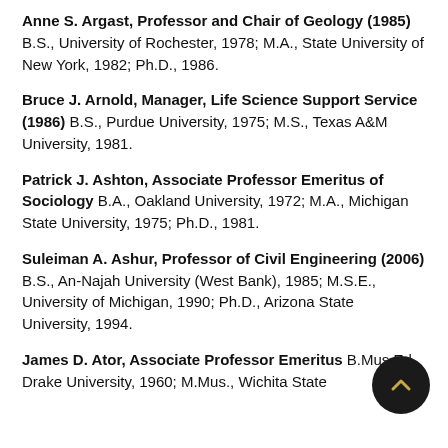Anne S. Argast, Professor and Chair of Geology (1985) B.S., University of Rochester, 1978; M.A., State University of New York, 1982; Ph.D., 1986.
Bruce J. Arnold, Manager, Life Science Support Service (1986) B.S., Purdue University, 1975; M.S., Texas A&M University, 1981.
Patrick J. Ashton, Associate Professor Emeritus of Sociology B.A., Oakland University, 1972; M.A., Michigan State University, 1975; Ph.D., 1981.
Suleiman A. Ashur, Professor of Civil Engineering (2006) B.S., An-Najah University (West Bank), 1985; M.S.E., University of Michigan, 1990; Ph.D., Arizona State University, 1994.
James D. Ator, Associate Professor Emeritus B.Mus.Ed., Drake University, 1960; M.Mus., Wichita State University, 1964; D.Mus., North Texas State University,